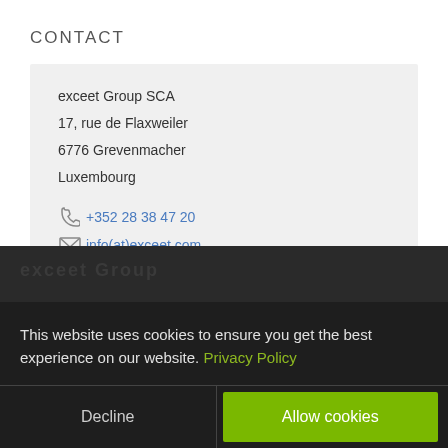CONTACT
exceet Group SCA
17, rue de Flaxweiler
6776 Grevenmacher
Luxembourg
+352 28 38 47 20
info(at)exceet.com
This website uses cookies to ensure you get the best experience on our website. Privacy Policy
Decline
Allow cookies